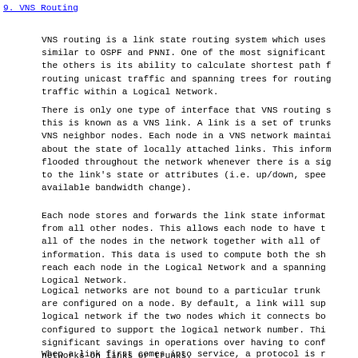9.  VNS Routing
VNS routing is a link state routing system which uses similar to OSPF and PNNI. One of the most significant the others is its ability to calculate shortest path f routing unicast traffic and spanning trees for routing traffic within a Logical Network.
There is only one type of interface that VNS routing s this is known as a VNS link. A link is a set of trunks VNS neighbor nodes. Each node in a VNS network maintai about the state of locally attached links. This inform flooded throughout the network whenever there is a sig to the link's state or attributes (i.e. up/down, spee available bandwidth change).
Each node stores and forwards the link state informat from all other nodes. This allows each node to have t all of the nodes in the network together with all of information. This data is used to compute both the sh reach each node in the Logical Network and a spanning Logical Network.
Logical networks are not bound to a particular trunk are configured on a node. By default, a link will sup logical network if the two nodes which it connects bo configured to support the logical network number. Thi significant savings in operations over having to conf networks on links or trunks.
When a link first comes into service, a protocol is r